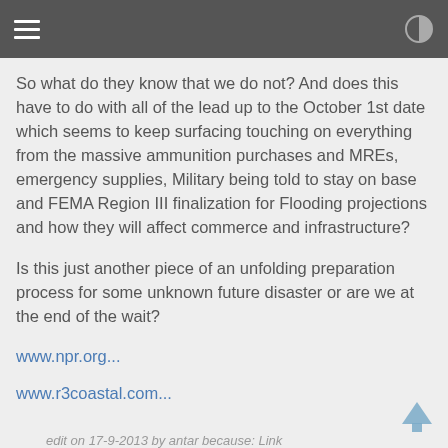So what do they know that we do not? And does this have to do with all of the lead up to the October 1st date which seems to keep surfacing touching on everything from the massive ammunition purchases and MREs, emergency supplies, Military being told to stay on base and FEMA Region III finalization for Flooding projections and how they will affect commerce and infrastructure?
Is this just another piece of an unfolding preparation process for some unknown future disaster or are we at the end of the wait?
www.npr.org...
www.r3coastal.com...
edit on 17-9-2013 by antar because: Link